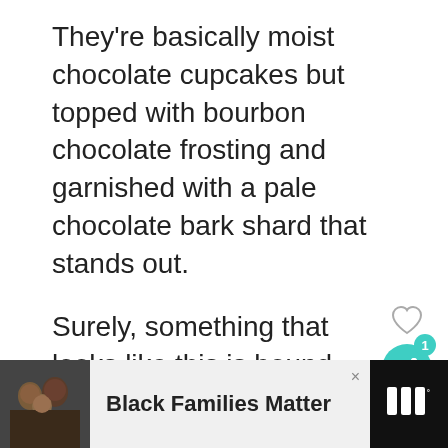They're basically moist chocolate cupcakes but topped with bourbon chocolate frosting and garnished with a pale chocolate bark shard that stands out.
Surely, something that looks like this is bound to be delicious!
But how delicious?
[Figure (infographic): Social interaction widget with heart/like icon and teal share button showing count of 1]
[Figure (infographic): What's Next widget showing '30 Best White Chocolate...' with gold chocolate image and teal arrow label]
[Figure (infographic): Advertisement banner with photo of smiling family, text 'Black Families Matter', close button, and dark logo panel on right]